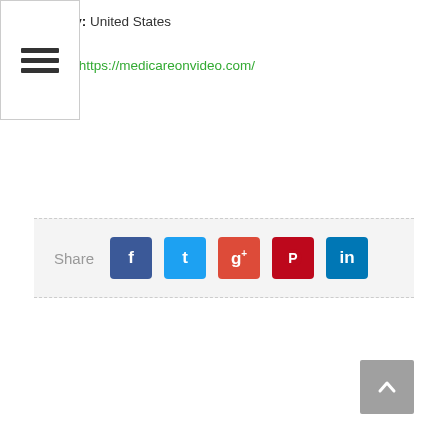Country: United States
Website: https://medicareonvideo.com/
[Figure (other): Social share bar with Facebook, Twitter, Google+, Pinterest, and LinkedIn buttons]
[Figure (other): Scroll to top button (gray arrow up)]